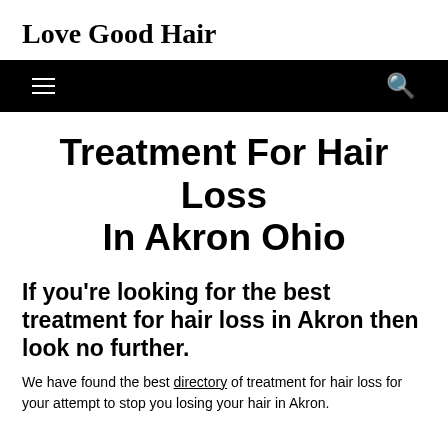Love Good Hair
Treatment For Hair Loss In Akron Ohio
If you’re looking for the best treatment for hair loss in Akron then look no further.
We have found the best directory of treatment for hair loss for your attempt to stop you losing your hair in Akron.